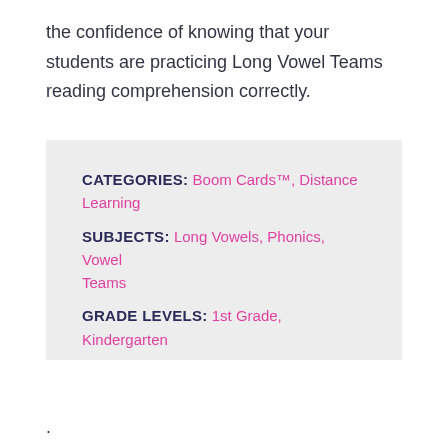the confidence of knowing that your students are practicing Long Vowel Teams reading comprehension correctly.
CATEGORIES: Boom Cards™, Distance Learning
SUBJECTS: Long Vowels, Phonics, Vowel Teams
GRADE LEVELS: 1st Grade, Kindergarten